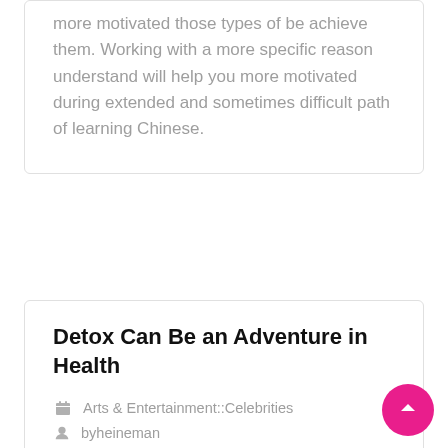more motivated those types of be achieve them. Working with a more specific reason understand will help you more motivated during extended and sometimes difficult path of learning Chinese.
Detox Can Be an Adventure in Health
Arts & Entertainment::Celebrities
byheineman
In this day and age, people are constantly looking for the latest trends and body cleansing is it. If you are among the many people that have actually heard of cleansing your body b... still do not understand it; this article is going to...